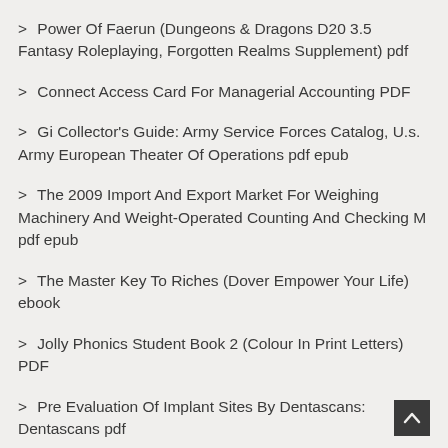> Power Of Faerun (Dungeons & Dragons D20 3.5 Fantasy Roleplaying, Forgotten Realms Supplement) pdf
> Connect Access Card For Managerial Accounting PDF
> Gi Collector's Guide: Army Service Forces Catalog, U.s. Army European Theater Of Operations pdf epub
> The 2009 Import And Export Market For Weighing Machinery And Weight-Operated Counting And Checking M pdf epub
> The Master Key To Riches (Dover Empower Your Life) ebook
> Jolly Phonics Student Book 2 (Colour In Print Letters) PDF
> Pre Evaluation Of Implant Sites By Dentascans: Dentascans pdf
> Dainty Sweets; Ices, Creams, Jellies, Preserves, By The World Famous Chefs, United States, Canada, E PDF